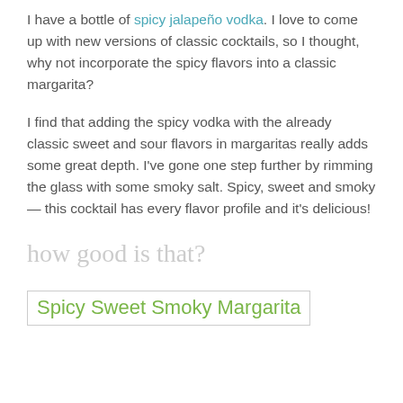I have a bottle of spicy jalapeño vodka. I love to come up with new versions of classic cocktails, so I thought, why not incorporate the spicy flavors into a classic margarita?
I find that adding the spicy vodka with the already classic sweet and sour flavors in margaritas really adds some great depth. I've gone one step further by rimming the glass with some smoky salt. Spicy, sweet and smoky — this cocktail has every flavor profile and it's delicious!
how good is that?
Spicy Sweet Smoky Margarita